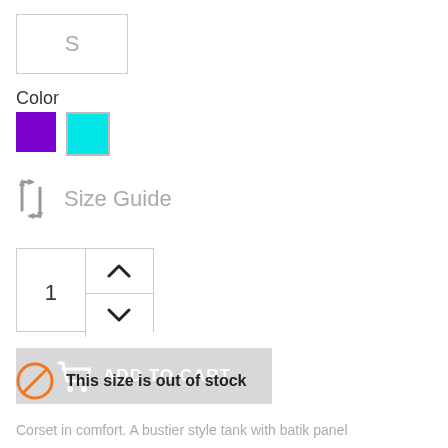S
Color
[Figure (infographic): Two color swatches: purple square and cyan/turquoise square]
Size Guide
[Figure (infographic): Quantity spinner showing value 1 with up and down arrow controls]
[Figure (infographic): Gray ADD TO CART button with shopping cart icon]
This size is out of stock
Corset in comfort. A bustier style tank with batik panel